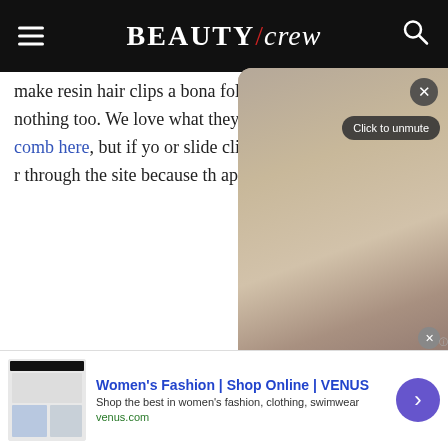BEAUTY/crew
make resin hair clips a bona follow-up styles are nothing too. We love what they've d humble comb here, but if yo or slide clip kinda girl, you r through the site because th aplenty.
[Figure (screenshot): Blurred video popup overlay with close button (×) and 'Click to unmute' button, pause icon at bottom]
[Figure (photo): Product photo of a rhinestone-encrusted gold hair barrette clip on white background]
[Figure (screenshot): Advertisement: Women's Fashion | Shop Online | VENUS. Shop the best in women's fashion, clothing, swimwear. venus.com. With thumbnail image and arrow button.]